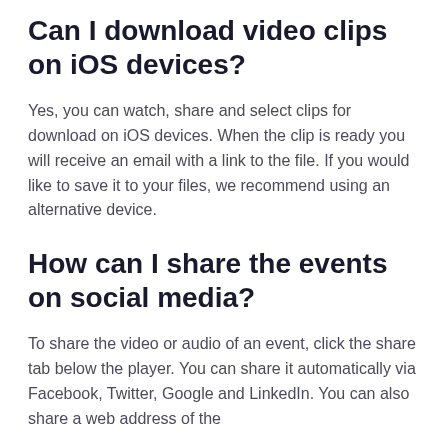Can I download video clips on iOS devices?
Yes, you can watch, share and select clips for download on iOS devices. When the clip is ready you will receive an email with a link to the file. If you would like to save it to your files, we recommend using an alternative device.
How can I share the events on social media?
To share the video or audio of an event, click the share tab below the player. You can share it automatically via Facebook, Twitter, Google and LinkedIn. You can also share a web address of the